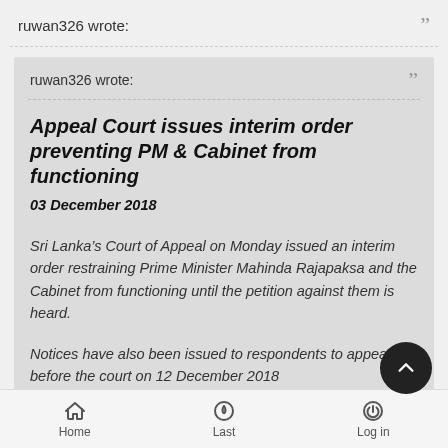ruwan326 wrote:
ruwan326 wrote:
Appeal Court issues interim order preventing PM & Cabinet from functioning
03 December 2018
Sri Lanka’s Court of Appeal on Monday issued an interim order restraining Prime Minister Mahinda Rajapaksa and the Cabinet from functioning until the petition against them is heard.
Notices have also been issued to respondents to appear before the court on 12 December 2018
Home  Last  Log in